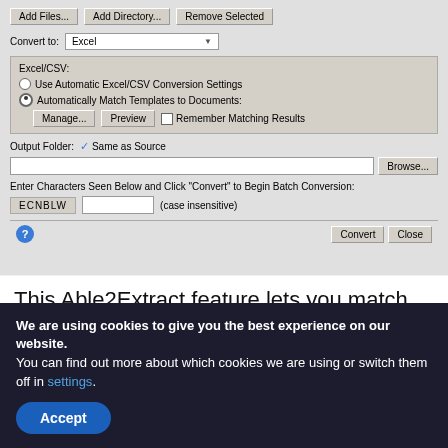[Figure (screenshot): Able2Extract batch conversion dialog with buttons Add Files, Add Directory, Remove Selected, Convert to Excel dropdown, Excel/CSV settings with radio buttons, Output Folder row, CAPTCHA row (ECNBLW), and Convert/Close buttons.]
This Able2Extract feature lets you match up and apply your Master templates to the PDFs you have scheduled
We are using cookies to give you the best experience on our website.
You can find out more about which cookies we are using or switch them off in settings.